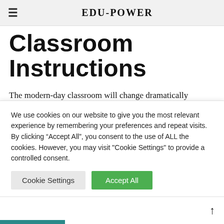EDU-POWER
Classroom Instructions
The modern-day classroom will change dramatically because of covid-19 and its continuous variants which are expected in the coming months and years. (The vaccines are not cures but prevent medicines until a real cure is
We use cookies on our website to give you the most relevant experience by remembering your preferences and repeat visits. By clicking “Accept All”, you consent to the use of ALL the cookies. However, you may visit "Cookie Settings" to provide a controlled consent.
Cookie Settings   Accept All